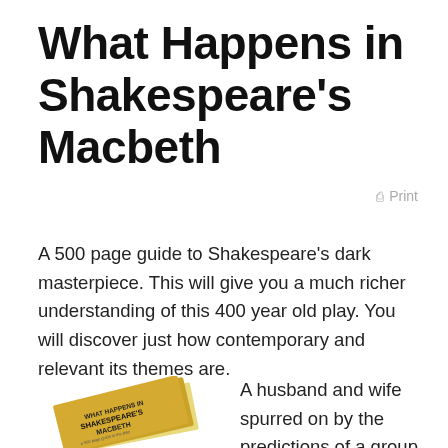What Happens in Shakespeare's Macbeth
Print
A 500 page guide to Shakespeare's dark masterpiece. This will give you a much richer understanding of this 400 year old play. You will discover just how contemporary and relevant its themes are.
[Figure (photo): Book cover of 'What Happens in Shakespeare's Macbeth' shown as a tilted paperback with gold/yellow cover]
A husband and wife spurred on by the predictions of a group